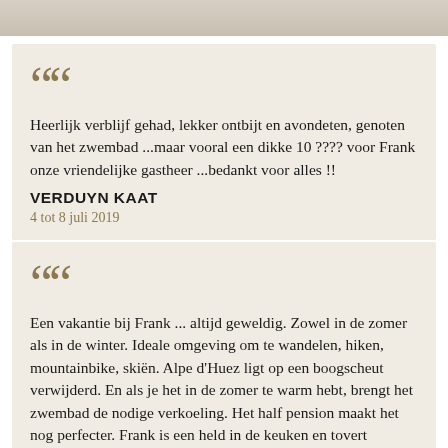[Figure (photo): Top portion of an image, partially visible at the top of the page]
Heerlijk verblijf gehad, lekker ontbijt en avondeten, genoten van het zwembad ...maar vooral een dikke 10 ???? voor Frank onze vriendelijke gastheer ...bedankt voor alles !! VERDUYN KAAT 4 tot 8 juli 2019
Een vakantie bij Frank ... altijd geweldig. Zowel in de zomer als in de winter. Ideale omgeving om te wandelen, hiken, mountainbike, skiën. Alpe d'Huez ligt op een boogscheut verwijderd. En als je het in de zomer te warm hebt, brengt het zwembad de nodige verkoeling. Het half pension maakt het nog perfecter. Frank is een held in de keuken en tovert dagelijks geweldig lekkere gerechten op